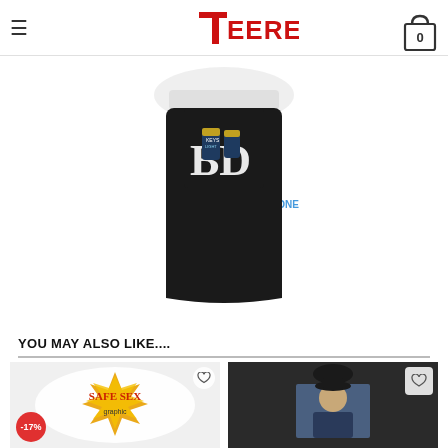≡ TEERESS [cart: 0]
[Figure (photo): Black apron product with 'Powered By Keystone Light' text and logo design]
YOU MAY ALSO LIKE....
[Figure (photo): White product with 'Safe Sex' graphic design, -17% badge]
[Figure (photo): Black sweatshirt with portrait graphic design]